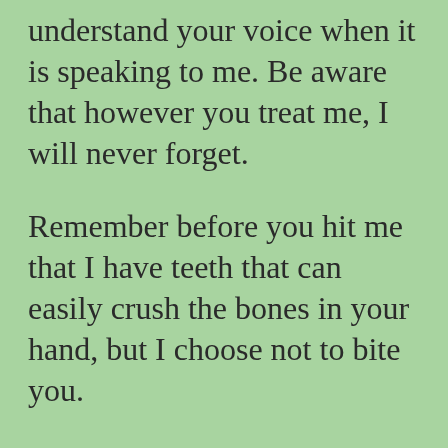understand your voice when it is speaking to me. Be aware that however you treat me, I will never forget.
Remember before you hit me that I have teeth that can easily crush the bones in your hand, but I choose not to bite you.
Before you scold me for being uncooperative, obstinate, or lazy, ask